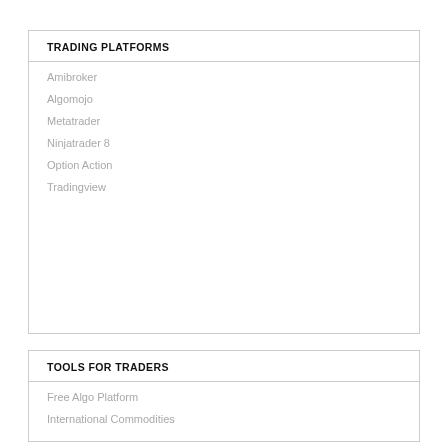TRADING PLATFORMS
Amibroker
Algomojo
Metatrader
Ninjatrader 8
Option Action
Tradingview
TOOLS FOR TRADERS
Free Algo Platform
International Commodities